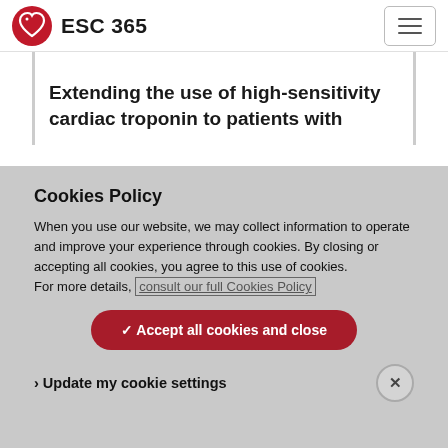ESC 365
Extending the use of high-sensitivity cardiac troponin to patients with
Cookies Policy
When you use our website, we may collect information to operate and improve your experience through cookies. By closing or accepting all cookies, you agree to this use of cookies.
For more details, consult our full Cookies Policy
✓ Accept all cookies and close
› Update my cookie settings